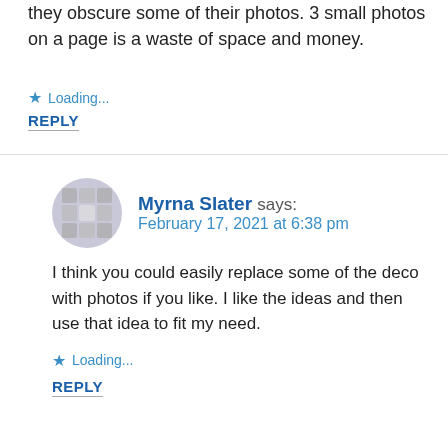they obscure some of their photos. 3 small photos on a page is a waste of space and money.
Loading...
REPLY
Myrna Slater says: February 17, 2021 at 6:38 pm
I think you could easily replace some of the deco with photos if you like. I like the ideas and then use that idea to fit my need.
Loading...
REPLY